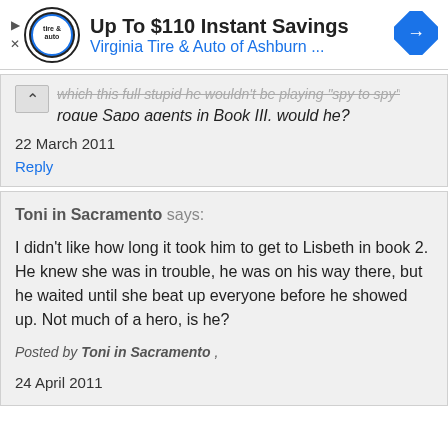[Figure (infographic): Advertisement banner: Virginia Tire & Auto of Ashburn. Up To $110 Instant Savings. Contains a circular logo and a blue diamond navigation arrow icon.]
rogue Sapo agents in Book III, would he?
22 March 2011
Reply
Toni in Sacramento says:
I didn't like how long it took him to get to Lisbeth in book 2. He knew she was in trouble, he was on his way there, but he waited until she beat up everyone before he showed up. Not much of a hero, is he?
Posted by Toni in Sacramento ,
24 April 2011